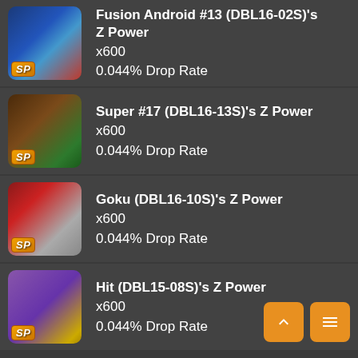Fusion Android #13 (DBL16-02S)'s Z Power x600 0.044% Drop Rate
Super #17 (DBL16-13S)'s Z Power x600 0.044% Drop Rate
Goku (DBL16-10S)'s Z Power x600 0.044% Drop Rate
Hit (DBL15-08S)'s Z Power x600 0.044% Drop Rate